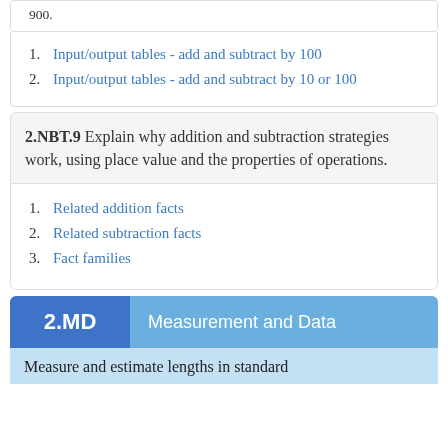900.
Input/output tables - add and subtract by 100
Input/output tables - add and subtract by 10 or 100
2.NBT.9 Explain why addition and subtraction strategies work, using place value and the properties of operations.
Related addition facts
Related subtraction facts
Fact families
2.MD  Measurement and Data
Measure and estimate lengths in standard